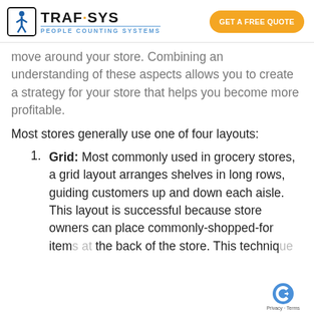[Figure (logo): Traf-Sys People Counting Systems logo with walking person icon]
GET A FREE QUOTE
move around your store. Combining an understanding of these aspects allows you to create a strategy for your store that helps you become more profitable.
Most stores generally use one of four layouts:
Grid: Most commonly used in grocery stores, a grid layout arranges shelves in long rows, guiding customers up and down each aisle. This layout is successful because store owners can place commonly-shopped-for items at the back of the store. This technique